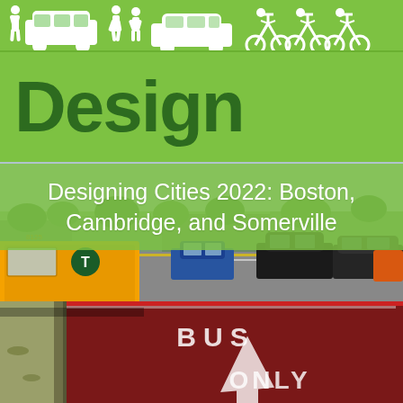[Figure (illustration): Green banner header showing white silhouette icons of pedestrians, cars, cyclists, and other transportation modes on a bright green background, with the large word 'Design' in dark green text below the icon strip]
Designing Cities 2022: Boston, Cambridge, and Somerville
[Figure (photo): Street photograph showing a bus lane with red pavement markings and white painted letters/arrow markings in the foreground. A yellow MBTA bus is on the left, with multiple cars (blue, black, orange) visible in the background traffic lane. Trees and buildings are visible in the far background.]